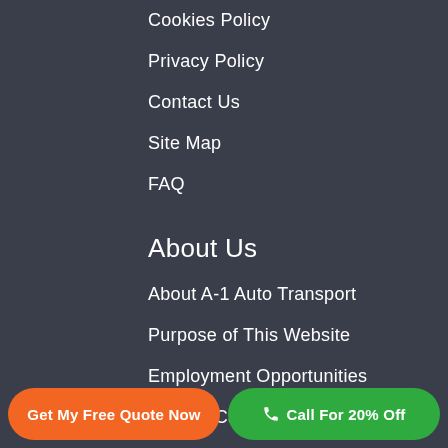Cookies Policy
Privacy Policy
Contact Us
Site Map
FAQ
About Us
About A-1 Auto Transport
Purpose of This Website
Employment Opportunities
Affiliate Carrier Program
Press Releases
Latest News
Get My Free Quote Now | Call For 20% Off